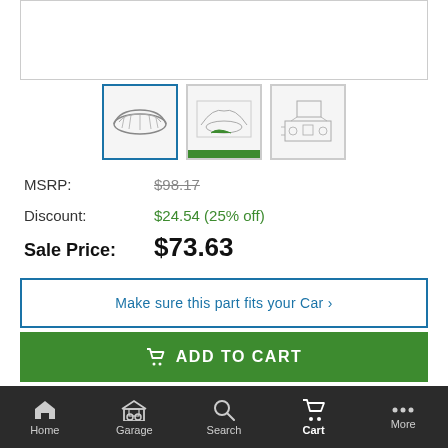[Figure (photo): Product thumbnail row showing an engine grille part, a diagram with highlighted green part, and an exploded parts diagram]
MSRP: $98.17
Discount: $24.54 (25% off)
Sale Price: $73.63
Make sure this part fits your Car ›
ADD TO CART
Manufacturer Warranty
Minimum of 12 Months
Guaranteed Fitment
Always the correct parts
Shop with Confidence
Your information is safe
In-House Experts
We know our products
Home  Garage  Search  Cart  More